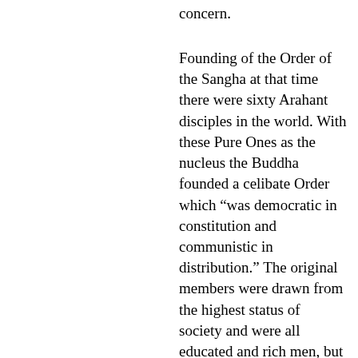concern.
Founding of the Order of the Sangha at that time there were sixty Arahant disciples in the world. With these Pure Ones as the nucleus the Buddha founded a celibate Order which “was democratic in constitution and communistic in distribution.” The original members were drawn from the highest status of society and were all educated and rich men, but the Order was open to all worthy ones, irrespective of caste, class or rank. Both young and old belonging to all the castes, were freely admitted into the Order and lived like brothers of the same family